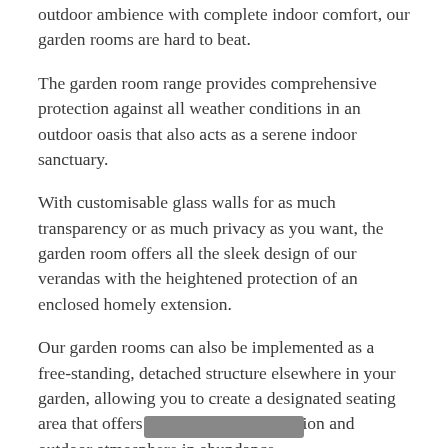outdoor ambience with complete indoor comfort, our garden rooms are hard to beat.
The garden room range provides comprehensive protection against all weather conditions in an outdoor oasis that also acts as a serene indoor sanctuary.
With customisable glass walls for as much transparency or as much privacy as you want, the garden room offers all the sleek design of our verandas with the heightened protection of an enclosed homely extension.
Our garden rooms can also be implemented as a free-standing, detached structure elsewhere in your garden, allowing you to create a designated seating area that offers ample weather protection and outdoor atmosphere in abundance.